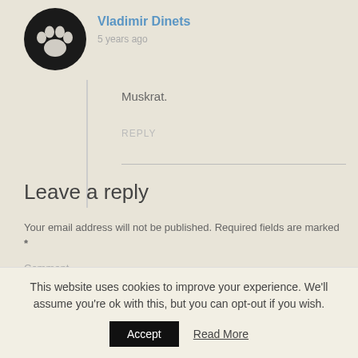[Figure (illustration): Avatar icon: black circle with white paw print logo (animal tracks / pet paw)]
Vladimir Dinets
5 years ago
Muskrat.
REPLY
Leave a reply
Your email address will not be published. Required fields are marked *
Comment
This website uses cookies to improve your experience. We'll assume you're ok with this, but you can opt-out if you wish.
Accept
Read More